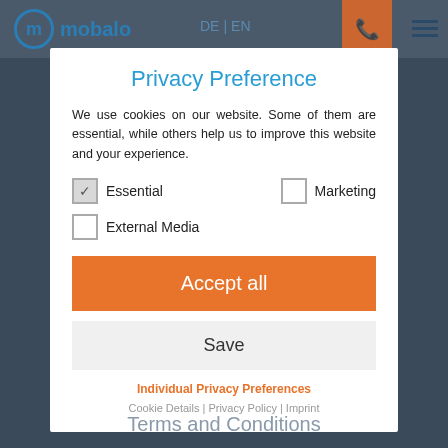[Figure (screenshot): Mobalo website header with logo, language switcher (DE | EN), phone button (orange), and hamburger menu on dark background]
Privacy Preference
We use cookies on our website. Some of them are essential, while others help us to improve this website and your experience.
Essential (checked)
Marketing (unchecked)
External Media (unchecked)
Accept all
Save
Individual Privacy Preferences
Cookie Details | Privacy Policy | Imprint
Terms and Conditions